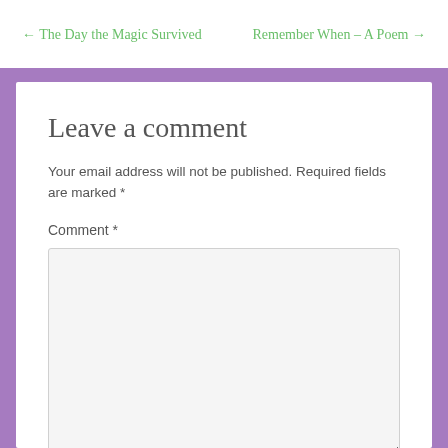← The Day the Magic Survived
Remember When – A Poem →
Leave a comment
Your email address will not be published. Required fields are marked *
Comment *
Name *